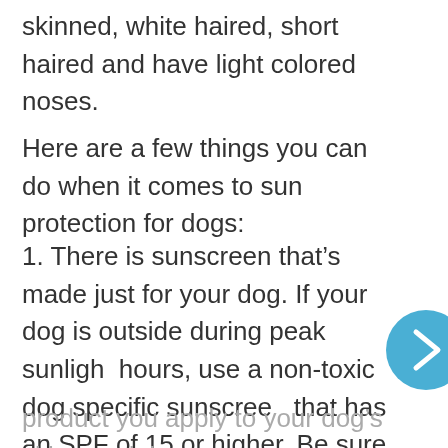skinned, white haired, short haired and have light colored noses.
Here are a few things you can do when it comes to sun protection for dogs:
1. There is sunscreen that’s made just for your dog. If your dog is outside during peak sunlight hours, use a non-toxic dog specific sunscreen that has an SPF of 15 or higher. Be sure to apply it to sunburn-prone areas such as the tips of ears, the bridge of the nose, groin area, inside the legs and underbelly. As with any
product you apply to your dog’s skin, read the